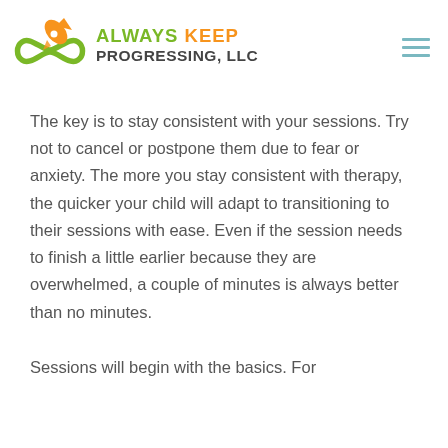ALWAYS KEEP PROGRESSING, LLC
The key is to stay consistent with your sessions. Try not to cancel or postpone them due to fear or anxiety. The more you stay consistent with therapy, the quicker your child will adapt to transitioning to their sessions with ease. Even if the session needs to finish a little earlier because they are overwhelmed, a couple of minutes is always better than no minutes.
Sessions will begin with the basics. For